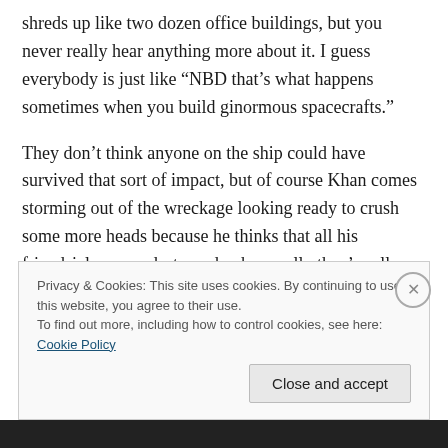shreds up like two dozen office buildings, but you never really hear anything more about it. I guess everybody is just like “NBD that’s what happens sometimes when you build ginormous spacecrafts.”
They don’t think anyone on the ship could have survived that sort of impact, but of course Khan comes storming out of the wreckage looking ready to crush some more heads because he thinks that all his friendsicles were destroyed, when really they’re all fine, but no one tells him that. I would have told him! Maybe then he would have calmed
Privacy & Cookies: This site uses cookies. By continuing to use this website, you agree to their use.
To find out more, including how to control cookies, see here: Cookie Policy